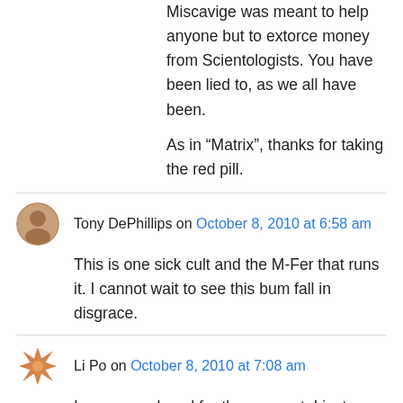Miscavige was meant to help anyone but to extorce money from Scientologists. You have been lied to, as we all have been.

As in “Matrix”, thanks for taking the red pill.
Tony DePhillips on October 8, 2010 at 6:58 am
This is one sick cult and the M-Fer that runs it. I cannot wait to see this bum fall in disgrace.
Li Po on October 8, 2010 at 7:08 am
I am unemployed for the moment. I just donated a small amount. Whatever YOU can donate will help.